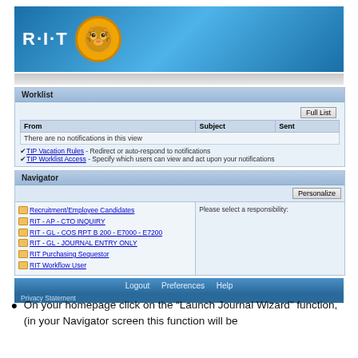[Figure (screenshot): Screenshot of RIT Oracle/PeopleSoft homepage showing the RIT banner with tiger logo, a Worklist section with Full List button, From/Subject/Sent columns, no notifications message, TIP links for Vacation Rules and Worklist Access, and a Navigator section with Personalize button, folder links including Recruitment/Employee Candidates, RIT-AP-CTO INQUIRY, RIT-GL-COS RPT B 200-E7000-E7200, RIT-GL-JOURNAL ENTRY ONLY, RIT Purchasing Sequestor, RIT Workflow User, and a 'Please select a responsibility' panel, plus a blue footer with Logout Preferences Help and Privacy Statement]
On your homepage click on the “Launch Journal Wizard” function, (in your Navigator screen this function will be